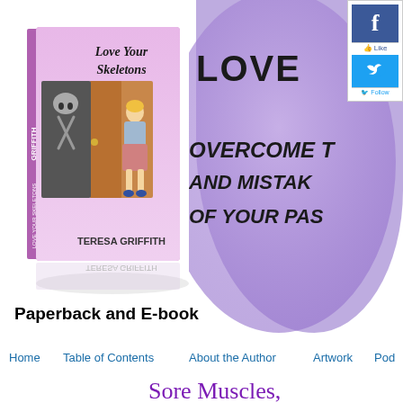[Figure (illustration): Book cover of 'Love Your Skeletons' by Teresa Griffith showing a woman standing next to a closet with skeletons inside, pink/purple cover, 3D book rendering with reflection]
[Figure (infographic): Purple watercolor splash background with text: LOVE YOUR SKELETONS, OVERCOME THE FAILURES AND MISTAKES OF YOUR PAST]
[Figure (logo): Social media widgets: Facebook Like button and Twitter Follow button in top-right corner]
Paperback and E-book
Home
Table of Contents
About the Author
Artwork
Pod...
Sore Muscles,